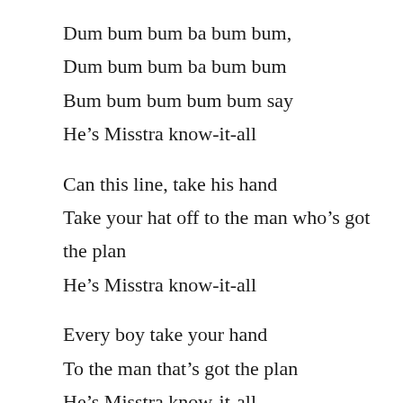Dum bum bum ba bum bum,
Dum bum bum ba bum bum
Bum bum bum bum bum say
He’s Misstra know-it-all
Can this line, take his hand
Take your hat off to the man who’s got the plan
He’s Misstra know-it-all
Every boy take your hand
To the man that’s got the plan
He’s Misstra know-it-all